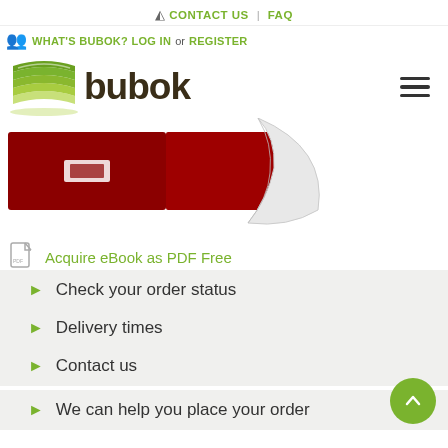CONTACT US | FAQ
WHAT'S BUBOK? LOG IN or REGISTER
[Figure (logo): Bubok logo with green stacked book pages icon and dark brown bold 'bubok' text]
[Figure (photo): Book cover preview showing dark red/maroon book cover with white bubok logo, and a curved page effect on the right side]
Acquire eBook as PDF Free
Check your order status
Delivery times
Contact us
We can help you place your order